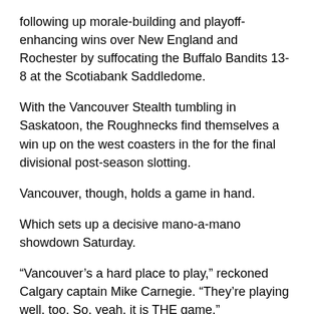following up morale-building and playoff-enhancing wins over New England and Rochester by suffocating the Buffalo Bandits 13-8 at the Scotiabank Saddledome.
With the Vancouver Stealth tumbling in Saskatoon, the Roughnecks find themselves a win up on the west coasters in the for the final divisional post-season slotting.
Vancouver, though, holds a game in hand.
Which sets up a decisive mano-a-mano showdown Saturday.
“Vancouver’s a hard place to play,” reckoned Calgary captain Mike Carnegie. “They’re playing well, too. So, yeah, it is THE game.”
“This,” sighed Dickson, “is the type of lacrosse we should have been playing all season. I don’t know where this has been all year, but better late than never I guess.